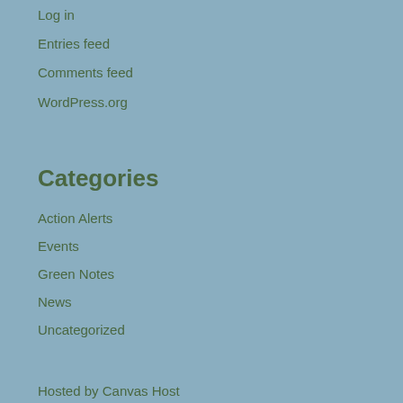Log in
Entries feed
Comments feed
WordPress.org
Categories
Action Alerts
Events
Green Notes
News
Uncategorized
Hosted by Canvas Host